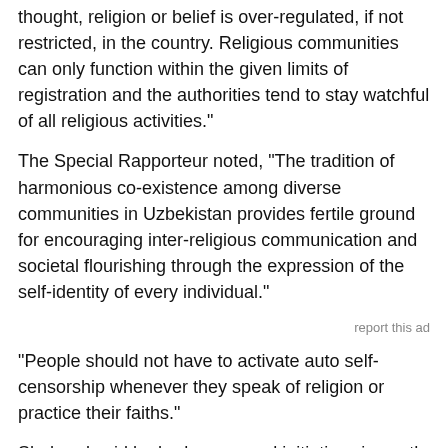thought, religion or belief is over-regulated, if not restricted, in the country. Religious communities can only function within the given limits of registration and the authorities tend to stay watchful of all religious activities."
The Special Rapporteur noted, "The tradition of harmonious co-existence among diverse communities in Uzbekistan provides fertile ground for encouraging inter-religious communication and societal flourishing through the expression of the self-identity of every individual."
report this ad
"People should not have to activate auto self-censorship whenever they speak of religion or practice their faiths."
Shaheed said he had seen good initiatives in youth education, especially in increasing religious literacy. "Literacy on freedom of religion is just as important and needs to be